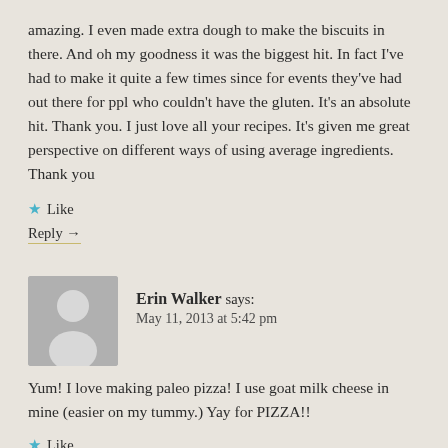amazing. I even made extra dough to make the biscuits in there. And oh my goodness it was the biggest hit. In fact I've had to make it quite a few times since for events they've had out there for ppl who couldn't have the gluten. It's an absolute hit. Thank you. I just love all your recipes. It's given me great perspective on different ways of using average ingredients. Thank you
★ Like
Reply →
Erin Walker says:
May 11, 2013 at 5:42 pm
[Figure (illustration): Generic user avatar placeholder — grey square with white silhouette of a person]
Yum! I love making paleo pizza! I use goat milk cheese in mine (easier on my tummy.) Yay for PIZZA!!
★ Like
Reply →